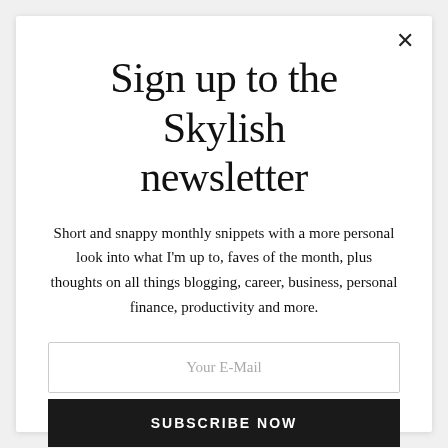Sign up to the Skylish newsletter
Short and snappy monthly snippets with a more personal look into what I'm up to, faves of the month, plus thoughts on all things blogging, career, business, personal finance, productivity and more.
Your E-Mail
SUBSCRIBE NOW
I agree to the privacy policy terms